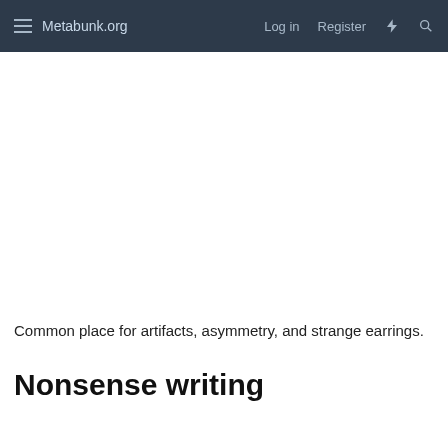Metabunk.org  Log in  Register
Common place for artifacts, asymmetry, and strange earrings.
Nonsense writing